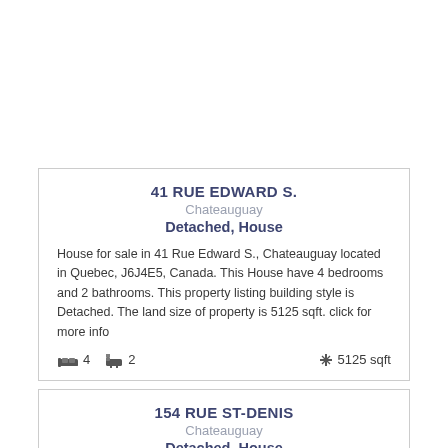41 RUE EDWARD S.
Chateauguay
Detached, House
House for sale in 41 Rue Edward S., Chateauguay located in Quebec, J6J4E5, Canada. This House have 4 bedrooms and 2 bathrooms. This property listing building style is Detached. The land size of property is 5125 sqft. click for more info
154 RUE ST-DENIS
Chateauguay
Detached, House
House for sale in 154 Rue St-Denis, Chateauguay located in Quebec, J6K006, Canada. This House have 4 bedrooms and 2 bathrooms. This